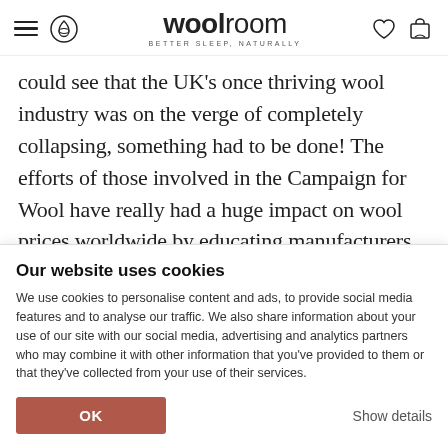woolroom — BETTER SLEEP, NATURALLY
could see that the UK's once thriving wool industry was on the verge of completely collapsing, something had to be done! The efforts of those involved in the Campaign for Wool have really had a huge impact on wool prices worldwide by educating manufacturers and the public on the benefits of choosing wool over synthetics. The Wool Room is continuously involved in the Campaign which actually has no staff, just a
Our website uses cookies
We use cookies to personalise content and ads, to provide social media features and to analyse our traffic. We also share information about your use of our site with our social media, advertising and analytics partners who may combine it with other information that you've provided to them or that they've collected from your use of their services.
OK
Show details